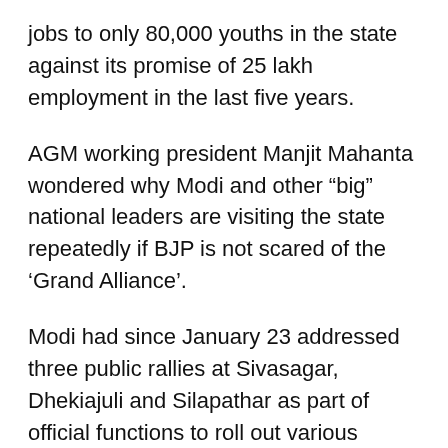jobs to only 80,000 youths in the state against its promise of 25 lakh employment in the last five years.
AGM working president Manjit Mahanta wondered why Modi and other “big” national leaders are visiting the state repeatedly if BJP is not scared of the ‘Grand Alliance’.
Modi had since January 23 addressed three public rallies at Sivasagar, Dhekiajuli and Silapathar as part of official functions to roll out various schemes and projects.
The press conference of the opposition alliance was also addressed by CPI state secretary Munin Mahanta and CPI(ML) central committee member Biplab Roy...